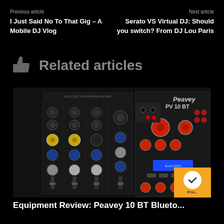Previous article
I Just Said No To That Gig – A Mobile DJ Vlog
Next article
Serato VS Virtual DJ: Should you switch? From DJ Lou Paris
Related articles
[Figure (photo): Photo of a Peavey PV 10 BT audio mixer with multiple knobs, faders, and controls on a black panel]
Equipment Review: Peavey 10 BT Blueto...